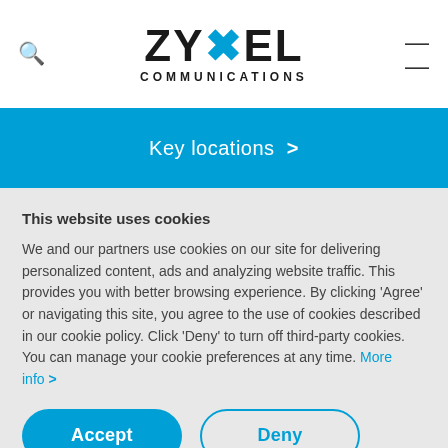ZYXEL COMMUNICATIONS
Key locations >
This website uses cookies
We and our partners use cookies on our site for delivering personalized content, ads and analyzing website traffic. This provides you with better browsing experience. By clicking 'Agree' or navigating this site, you agree to the use of cookies described in our cookie policy. Click 'Deny' to turn off third-party cookies. You can manage your cookie preferences at any time. More info >
Accept
Deny